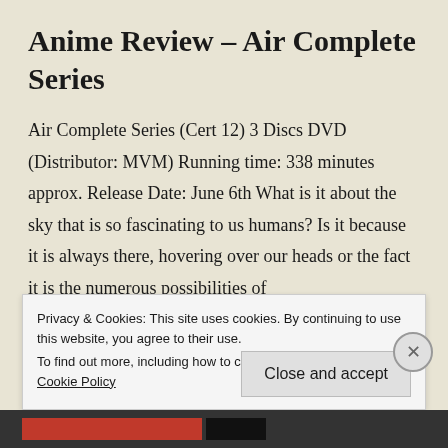Anime Review – Air Complete Series
Air Complete Series (Cert 12) 3 Discs DVD (Distributor: MVM) Running time: 338 minutes approx. Release Date: June 6th What is it about the sky that is so fascinating to us humans? Is it because it is always there, hovering over our heads or the fact it is the numerous possibilities of
Privacy & Cookies: This site uses cookies. By continuing to use this website, you agree to their use.
To find out more, including how to control cookies, see here: Cookie Policy